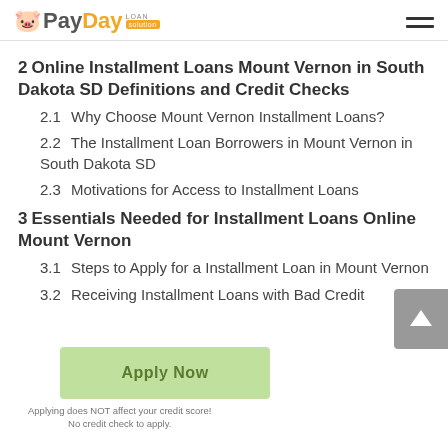PayDay Loan Solution
2  Online Installment Loans Mount Vernon in South Dakota SD Definitions and Credit Checks
2.1  Why Choose Mount Vernon Installment Loans?
2.2  The Installment Loan Borrowers in Mount Vernon in South Dakota SD
2.3  Motivations for Access to Installment Loans
3  Essentials Needed for Installment Loans Online Mount Vernon
3.1  Steps to Apply for a Installment Loan in Mount Vernon
3.2  Receiving Installment Loans with Bad Credit